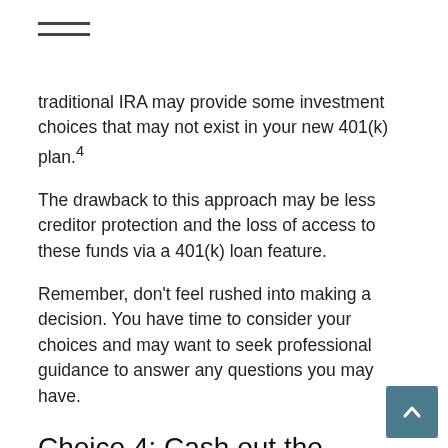traditional IRA may provide some investment choices that may not exist in your new 401(k) plan.4
The drawback to this approach may be less creditor protection and the loss of access to these funds via a 401(k) loan feature.
Remember, don't feel rushed into making a decision. You have time to consider your choices and may want to seek professional guidance to answer any questions you may have.
Choice 4: Cash out the account
The last choice is to simply cash out of the